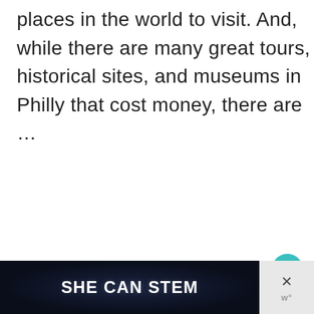places in the world to visit. And, while there are many great tours, historical sites, and museums in Philly that cost money, there are ...
Read more
[Figure (screenshot): Heart/like button (teal circle with heart icon)]
[Figure (screenshot): Share button (white circle with share icon)]
[Figure (screenshot): What's Next card with thumbnail image and text 'Visiting the Incredible...']
[Figure (screenshot): Advertisement banner: SHE CAN STEM with dark background and close button]